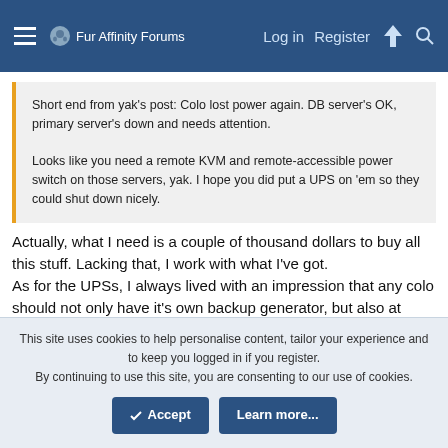Fur Affinity Forums  Log in  Register
Short end from yak's post: Colo lost power again. DB server's OK, primary server's down and needs attention.

Looks like you need a remote KVM and remote-accessible power switch on those servers, yak. I hope you did put a UPS on 'em so they could shut down nicely.
Actually, what I need is a couple of thousand dollars to buy all this stuff. Lacking that, I work with what I've got.
As for the UPSs, I always lived with an impression that any colo should not only have it's own backup generator, but also at least a room full of batteries to keep all the servers from instantly crashing every time a janitor woman cleans the room. That's why it's called the colo, and not the dark corner of my garage.
This site uses cookies to help personalise content, tailor your experience and to keep you logged in if you register.
By continuing to use this site, you are consenting to our use of cookies.